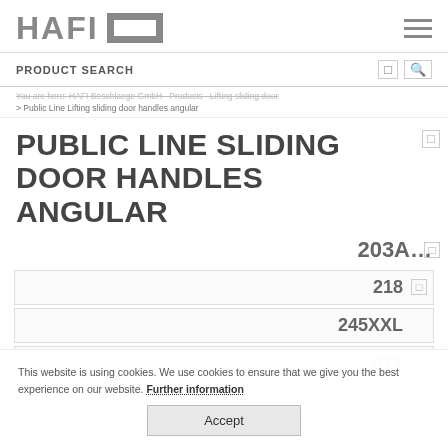HAFI [logo]
PRODUCT SEARCH
You are here: HAFI Beschlaege GmbH > Products > Lifting sliding door > Public Line Lifting sliding door handles angular
PUBLIC LINE LIFTING SLIDING DOOR HANDLES ANGULAR
203A...
218
245XXL
471
This website is using cookies. We use cookies to ensure that we give you the best experience on our website. Further information Accept